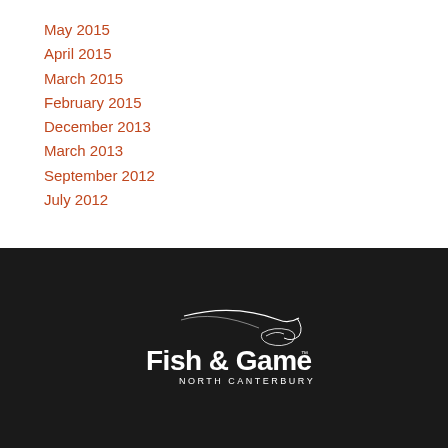May 2015
April 2015
March 2015
February 2015
December 2013
March 2013
September 2012
July 2012
[Figure (logo): Fish & Game North Canterbury logo — white text and stylized fish/bird illustration on black background]